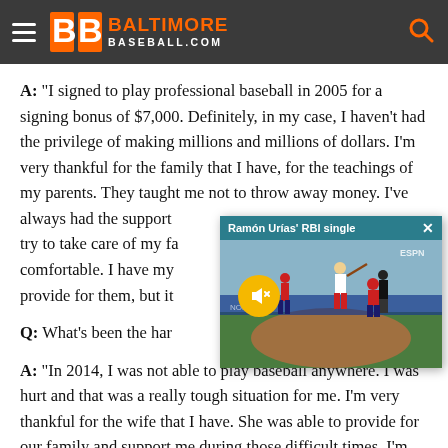BaltimoreBaseball.com
A: "I signed to play professional baseball in 2005 for a signing bonus of $7,000. Definitely, in my case, I haven't had the privilege of making millions and millions of dollars. I'm very thankful for the family that I have, for the teachings of my parents. They taught me not to throw away money. I've always had the support [of my family] and I always try to take care of my fa[mily and make them feel] comfortable. I have my [kids and my wife and I want to] provide for them, but it[...]
[Figure (screenshot): Video overlay popup showing 'Ramón Urías' RBI single' with a baseball game photo showing a batter, pitcher, and catcher at home plate. Teal title bar with close X button. Yellow mute button overlaid on video.]
Q: What's been the har[dest part of your career?]
A: "In 2014, I was not able to play baseball anywhere. I was hurt and that was a really tough situation for me. I'm very thankful for the wife that I have. She was able to provide for our family and support me during those difficult times. I'm